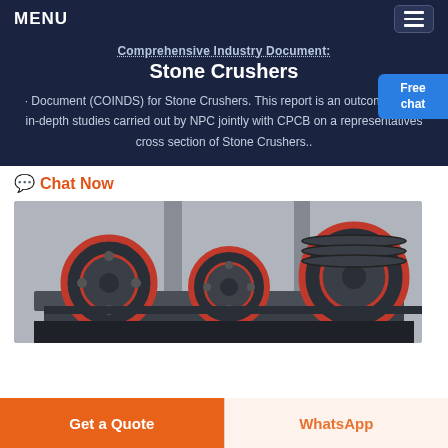MENU
Comprehensive Industry Document: Stone Crushers
Document (COINDS) for Stone Crushers. This report is an outcome of the in-depth studies carried out by NPC jointly with CPCB on a representatives cross section of Stone Crushers..
Chat Now
[Figure (photo): Photo of industrial stone crusher machinery with large black and red flywheel pulleys and belt drive components in a factory setting]
Get a Quote
WhatsApp